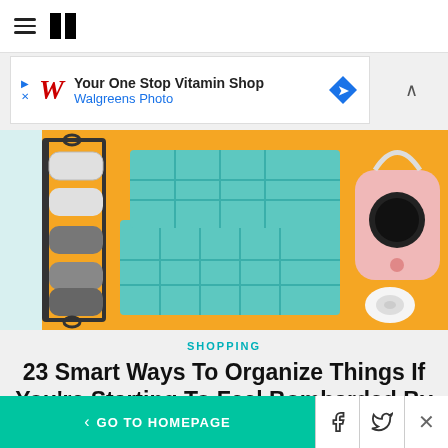HuffPost navigation with hamburger menu and logo
[Figure (screenshot): Walgreens ad banner: Your One Stop Vitamin Shop - Walgreens Photo]
[Figure (photo): Hero product image on orange background: wall-mounted towel/blanket rack on left, teal drawer organizer set in center, pink mini label printer on right]
SHOPPING
23 Smart Ways To Organize Things If You're Starting To Feel Bombarded By Clutter
< GO TO HOMEPAGE | Facebook share | Twitter share | Close